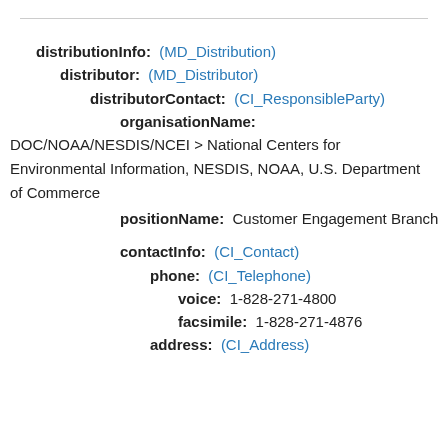distributionInfo: (MD_Distribution)
distributor: (MD_Distributor)
distributorContact: (CI_ResponsibleParty)
organisationName:
DOC/NOAA/NESDIS/NCEI > National Centers for Environmental Information, NESDIS, NOAA, U.S. Department of Commerce
positionName: Customer Engagement Branch
contactInfo: (CI_Contact)
phone: (CI_Telephone)
voice: 1-828-271-4800
facsimile: 1-828-271-4876
address: (CI_Address)